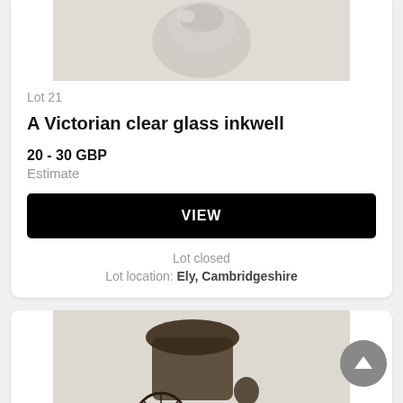[Figure (photo): Top portion of a clear glass inkwell item photo, cropped at top of page]
Lot 21
A Victorian clear glass inkwell
20 - 30 GBP
Estimate
VIEW
Lot closed
Lot location: Ely, Cambridgeshire
[Figure (photo): Photo of a small bronze/metal figurine of a rickshaw with a figure, on a light background]